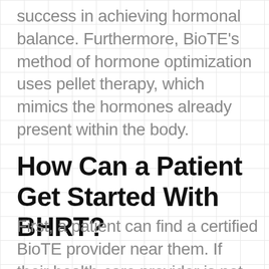success in achieving hormonal balance. Furthermore, BioTE's method of hormone optimization uses pellet therapy, which mimics the hormones already present within the body.
How Can a Patient Get Started With BHRT?
First, a patient can find a certified BioTE provider near them. If their health-care provider is not listed, they can nominate